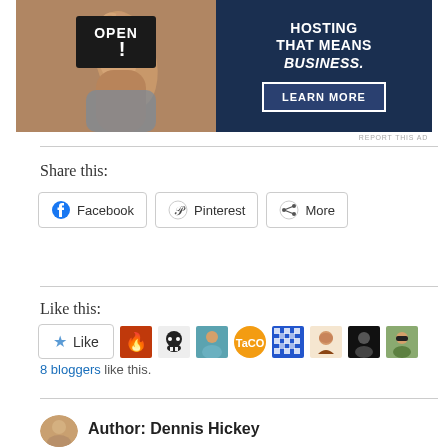[Figure (photo): Advertisement banner: left side shows a person holding an OPEN sign (photo), right side is dark blue with text 'HOSTING THAT MEANS BUSINESS.' and a 'LEARN MORE' button]
REPORT THIS AD
Share this:
Facebook   Pinterest   More
Like this:
[Figure (infographic): Like button with star icon and 8 blogger avatar thumbnails]
8 bloggers like this.
Author: Dennis Hickey